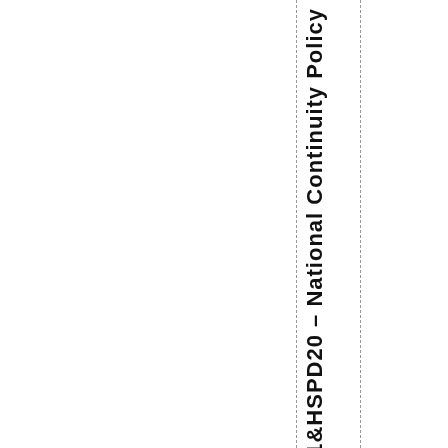NSPD51 & HSPD20 – National Continuity Policy